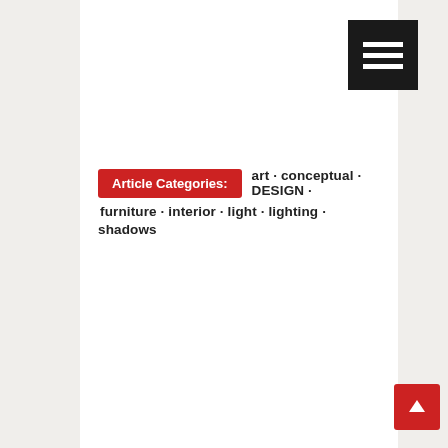[Figure (other): Black hamburger menu button with three white horizontal bars, positioned top right]
Article Categories: art · conceptual · DESIGN · furniture · interior · light · lighting · shadows
[Figure (other): Red scroll-to-top button with white upward arrow, bottom right corner]